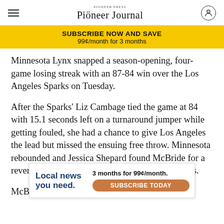Pioneer Journal
SUBSCRIBE NOW AND SAVE
99¢/month for 3 months
Minnesota Lynx snapped a season-opening, four-game losing streak with an 87-84 win over the Los Angeles Sparks on Tuesday.
After the Sparks' Liz Cambage tied the game at 84 with 15.1 seconds left on a turnaround jumper while getting fouled, she had a chance to give Los Angeles the lead but missed the ensuing free throw. Minnesota rebounded and Jessica Shepard found McBride for a reverse layup as she was fouled by Brittney Sykes.
McBri
[Figure (infographic): Advertisement banner: 'Local news you need. 3 months for 99¢/month. SUBSCRIBE TODAY' with brown/copper subscribe button]